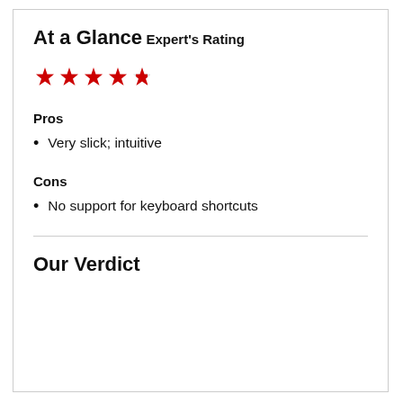At a Glance
Expert's Rating
[Figure (other): 4.5 out of 5 red stars rating]
Pros
Very slick; intuitive
Cons
No support for keyboard shortcuts
Our Verdict